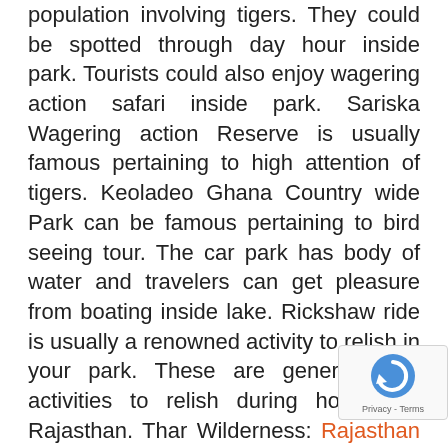population involving tigers. They could be spotted through day hour inside park. Tourists could also enjoy wagering action safari inside park. Sariska Wagering action Reserve is usually famous pertaining to high attention of tigers. Keoladeo Ghana Country wide Park can be famous pertaining to bird seeing tour. The car park has body of water and travelers can get pleasure from boating inside lake. Rickshaw ride is usually a renowned activity to relish in your park. These are generally the activities to relish during holiday in Rajasthan. Thar Wilderness: Rajasthan Take a trip is famous due to the beautiful glowing desert. The wilderness region can be sprinkled using stunning yellow sand dunes that can cause amazing panorama. Tourists wish to enjoy camel ride to search in your desert place. Sam along with Khuri villages are renowned and worthy of visiting for you to explore your exoticness involving sand sand hills. Some in the rare along with endangered kinds of plant life and animals could also spot inside Thar Wilderness. Camp flames activity is usually interesting. You can love to be a nighttime in mid in the desert within the moonlight. Area Tour: Urban centers of Rajasthan are generally dotted using numerous forts along
[Figure (other): reCAPTCHA badge with circular arrow logo and 'Privacy - Terms' text]